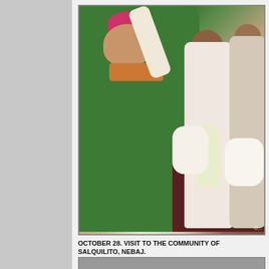[Figure (photo): A bishop wearing a green vestment and pink mitre is gesturing with his raised arm toward a group of indigenous Guatemalan women. One woman holds white calla lilies and has a baby wrapped on her back. Another woman on the right holds a baby dressed in white. There are more people in the background.]
OCTOBER 28. VISIT TO THE COMMUNITY OF SALQUILITO, NEBAJ.
[Figure (photo): Partial view of a second photograph at the bottom of the page, cut off.]